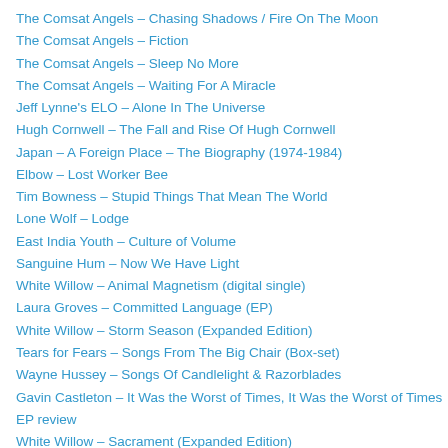The Comsat Angels – Chasing Shadows / Fire On The Moon
The Comsat Angels – Fiction
The Comsat Angels – Sleep No More
The Comsat Angels – Waiting For A Miracle
Jeff Lynne's ELO – Alone In The Universe
Hugh Cornwell – The Fall and Rise Of Hugh Cornwell
Japan – A Foreign Place – The Biography (1974-1984)
Elbow – Lost Worker Bee
Tim Bowness – Stupid Things That Mean The World
Lone Wolf – Lodge
East India Youth – Culture of Volume
Sanguine Hum – Now We Have Light
White Willow – Animal Magnetism (digital single)
Laura Groves – Committed Language (EP)
White Willow – Storm Season (Expanded Edition)
Tears for Fears – Songs From The Big Chair (Box-set)
Wayne Hussey – Songs Of Candlelight & Razorblades
Gavin Castleton – It Was the Worst of Times, It Was the Worst of Times EP review
White Willow – Sacrament (Expanded Edition)